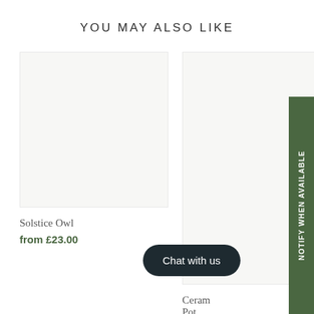YOU MAY ALSO LIKE
[Figure (photo): Product image placeholder for Solstice Owl — light grey/off-white square image area]
Solstice Owl
from £23.00
[Figure (photo): Product image placeholder for Ceramic Pot — light grey/off-white rectangular image area]
Ceramic Pot
£18.00
NOTIFY WHEN AVAILABLE
Chat with us